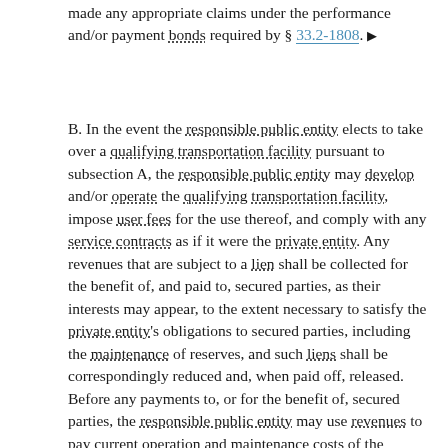made any appropriate claims under the performance and/or payment bonds required by § 33.2-1808. ▶
B. In the event the responsible public entity elects to take over a qualifying transportation facility pursuant to subsection A, the responsible public entity may develop and/or operate the qualifying transportation facility, impose user fees for the use thereof, and comply with any service contracts as if it were the private entity. Any revenues that are subject to a lien shall be collected for the benefit of, and paid to, secured parties, as their interests may appear, to the extent necessary to satisfy the private entity's obligations to secured parties, including the maintenance of reserves, and such liens shall be correspondingly reduced and, when paid off, released. Before any payments to, or for the benefit of, secured parties, the responsible public entity may use revenues to pay current operation and maintenance costs of the qualifying transportation facility or facilities, including compensation to the responsible public entity for its services